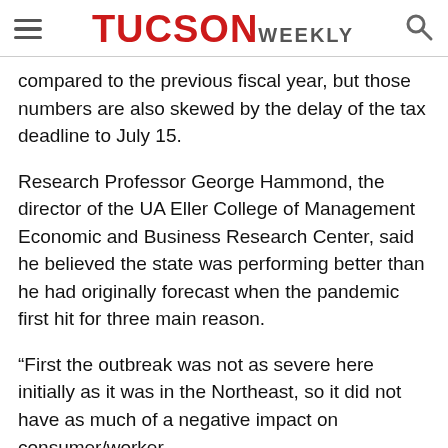TUCSON WEEKLY
compared to the previous fiscal year, but those numbers are also skewed by the delay of the tax deadline to July 15.
Research Professor George Hammond, the director of the UA Eller College of Management Economic and Business Research Center, said he believed the state was performing better than he had originally forecast when the pandemic first hit for three main reason.
“First the outbreak was not as severe here initially as it was in the Northeast, so it did not have as much of a negative impact on consumer/worker